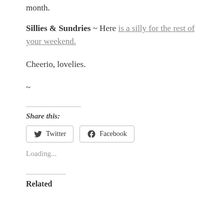month.
Sillies & Sundries ~ Here is a silly for the rest of your weekend.
Cheerio, lovelies.
~
Share this:
Loading...
Related